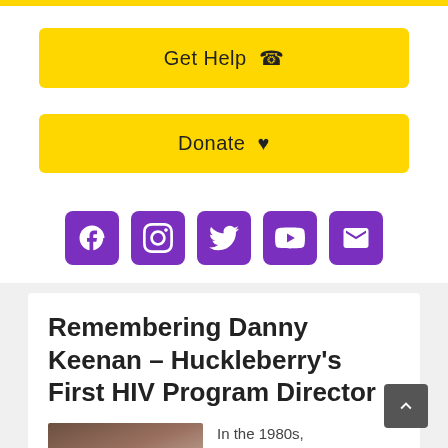[Figure (screenshot): Yellow top bar strip]
Get Help 📞
Donate ♥
[Figure (infographic): Row of five purple social media icons: Facebook, Instagram, Twitter, YouTube, Email]
Remembering Danny Keenan – Huckleberry's First HIV Program Director
[Figure (photo): Black and white photo of people, partially cropped]
In the 1980s, Huckleberry